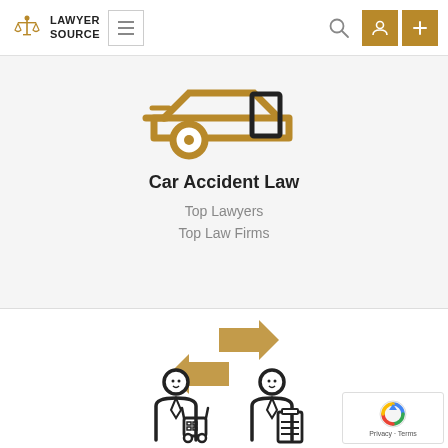[Figure (logo): Lawyer Source logo with scales of justice icon and text]
[Figure (illustration): Car accident icon: outline of car with golden wheel elements]
Car Accident Law
Top Lawyers
Top Law Firms
[Figure (illustration): Two people exchanging documents with arrows between them (legal exchange icon)]